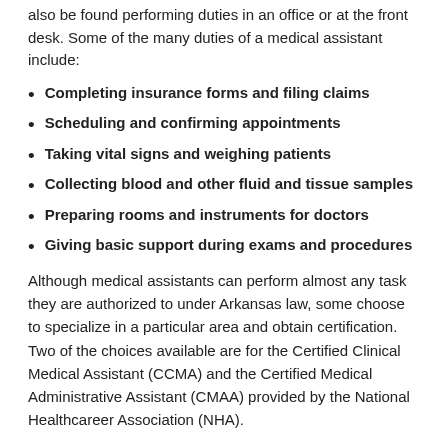also be found performing duties in an office or at the front desk. Some of the many duties of a medical assistant include:
Completing insurance forms and filing claims
Scheduling and confirming appointments
Taking vital signs and weighing patients
Collecting blood and other fluid and tissue samples
Preparing rooms and instruments for doctors
Giving basic support during exams and procedures
Although medical assistants can perform almost any task they are authorized to under Arkansas law, some choose to specialize in a particular area and obtain certification. Two of the choices available are for the Certified Clinical Medical Assistant (CCMA) and the Certified Medical Administrative Assistant (CMAA) provided by the National Healthcareer Association (NHA).